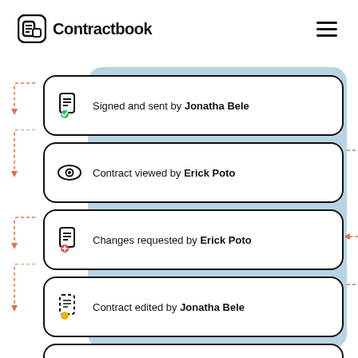[Figure (logo): Contractbook logo with icon and wordmark]
[Figure (infographic): Contract workflow timeline showing 5 steps: Signed and sent by Jonatha Bele, Contract viewed by Erick Poto, Changes requested by Erick Poto, Contract edited by Jonatha Bele, Signed by Erick Poto. Cards on white background with blue panel behind right portion.]